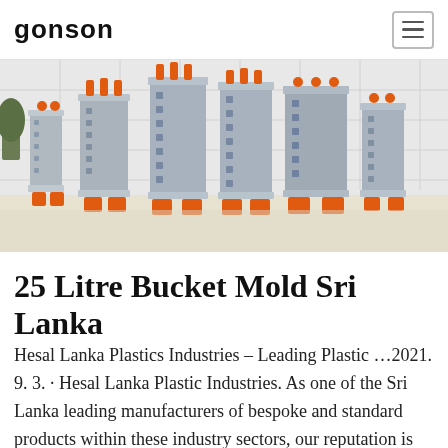GONSON
[Figure (photo): Multiple industrial plastic injection molds arranged in a row on a factory floor. The molds are large metal structures with orange bases and orange accent fittings, displayed against a white tiled wall background.]
25 Litre Bucket Mold Sri Lanka
Hesal Lanka Plastics Industries – Leading Plastic …2021. 9. 3. · Hesal Lanka Plastic Industries. As one of the Sri Lanka leading manufacturers of bespoke and standard products within these industry sectors, our reputation is built on a commitment and dedication to quality,